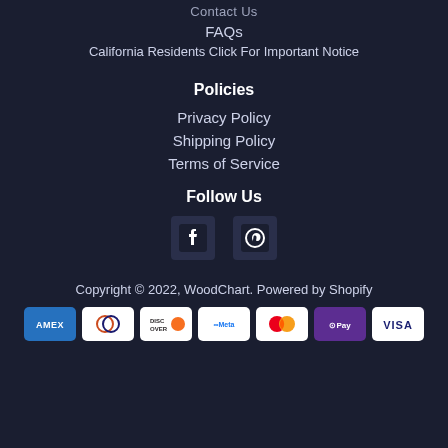Contact Us
FAQs
California Residents Click For Important Notice
Policies
Privacy Policy
Shipping Policy
Terms of Service
Follow Us
[Figure (other): Facebook and Pinterest social media icons]
Copyright © 2022, WoodChart. Powered by Shopify
[Figure (other): Payment method icons: Amex, Diners Club, Discover, Meta Pay, Mastercard, Google Pay, Visa]